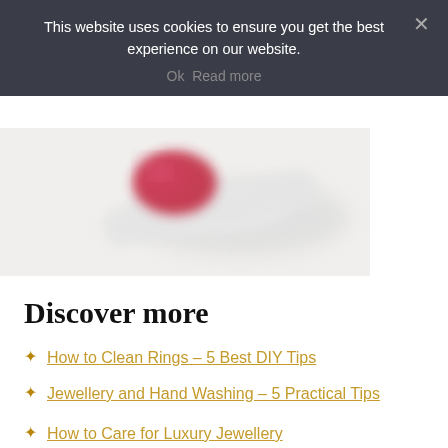This website uses cookies to ensure you get the best experience on our website.
Ok   Read more
[Figure (photo): Partial view of jewellery items with red gemstone and white/silver elements, blurred background, top portion of product photo]
Discover more
How to Clean Rings – 5 Best DIY Tips
Jewellery and Hand Washing – 5 Practical Tips
How to Care for Luxury Jewellery